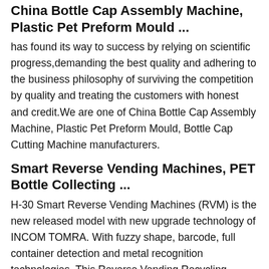China Bottle Cap Assembly Machine, Plastic Pet Preform Mould ...
has found its way to success by relying on scientific progress,demanding the best quality and adhering to the business philosophy of surviving the competition by quality and treating the customers with honest and credit.We are one of China Bottle Cap Assembly Machine, Plastic Pet Preform Mould, Bottle Cap Cutting Machine manufacturers.
Smart Reverse Vending Machines, PET Bottle Collecting ...
H-30 Smart Reverse Vending Machines (RVM) is the new released model with new upgrade technology of INCOM TOMRA. With fuzzy shape, barcode, full container detection and metal recognition technologies, This Reverse Vending Recycling Machine can collect PET and CAN, etc.